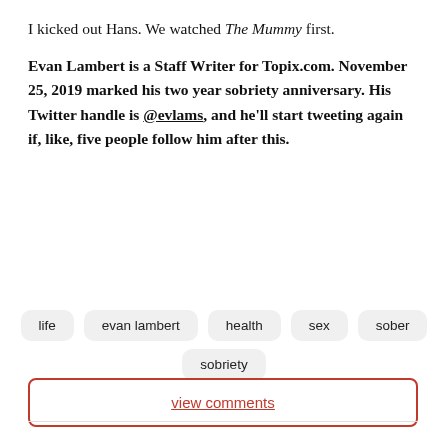I kicked out Hans. We watched The Mummy first.
Evan Lambert is a Staff Writer for Topix.com. November 25, 2019 marked his two year sobriety anniversary. His Twitter handle is @evlams, and he'll start tweeting again if, like, five people follow him after this.
life
evan lambert
health
sex
sober
sobriety
view comments